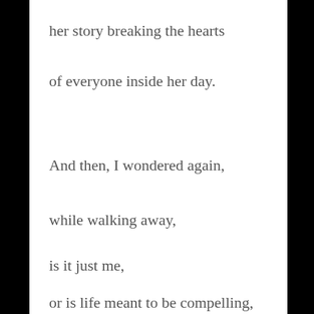her story breaking the hearts
of everyone inside her day.
And then, I wondered again,
while walking away,
is it just me,
or is life meant to be compelling,